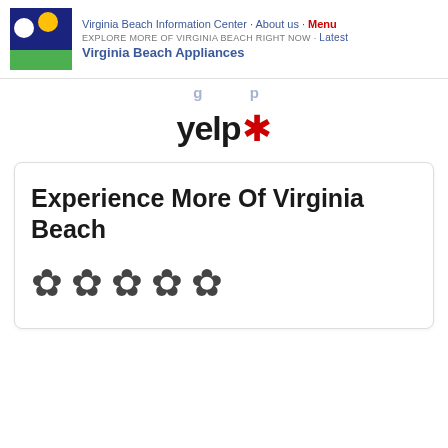Virginia Beach Information Center · About us · Menu
EXPLORE MORE OF VIRGINIA BEACH RIGHT NOW · Latest
Virginia Beach Appliances
[Figure (logo): Yelp logo with red burst/asterisk icon]
Experience More Of Virginia Beach
[Figure (other): Five flower/daisy rating symbols in a row]